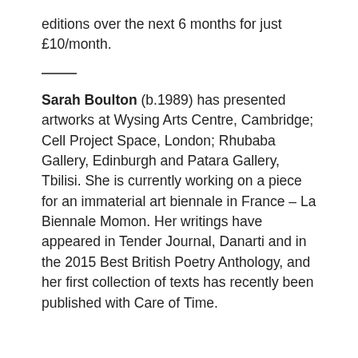editions over the next 6 months for just £10/month.
Sarah Boulton (b.1989) has presented artworks at Wysing Arts Centre, Cambridge; Cell Project Space, London; Rhubaba Gallery, Edinburgh and Patara Gallery, Tbilisi. She is currently working on a piece for an immaterial art biennale in France – La Biennale Momon. Her writings have appeared in Tender Journal, Danarti and in the 2015 Best British Poetry Anthology, and her first collection of texts has recently been published with Care of Time.